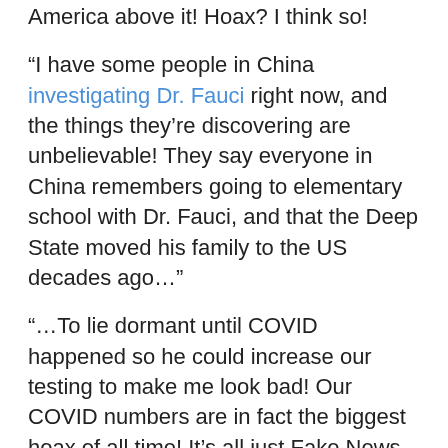America above it! Hoax? I think so!
“I have some people in China investigating Dr. Fauci right now, and the things they’re discovering are unbelievable! They say everyone in China remembers going to elementary school with Dr. Fauci, and that the Deep State moved his family to the US decades ago…”
“…To lie dormant until COVID happened so he could increase our testing to make me look bad! Our COVID numbers are in fact the biggest hoax of all time! It’s all just Fake News paid for by Obama and Kamala Harris to hide the fact that neither of them are citizens either!”
“Ivanka Trump nip slip”
“Oops, disregard that last tweet. I think Barron or Matt Gaetz was playing with my phone and accidentally did